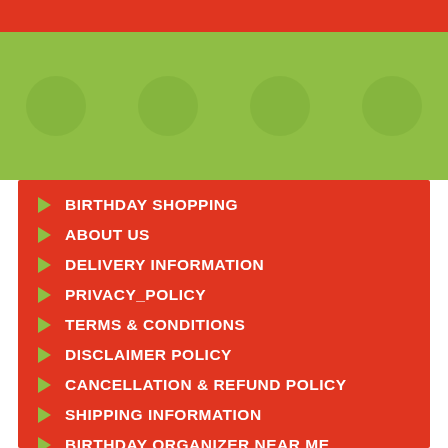[Figure (other): Red top banner bar]
[Figure (other): Green background section with faint icon placeholders]
BIRTHDAY SHOPPING
ABOUT US
DELIVERY INFORMATION
PRIVACY_POLICY
TERMS & CONDITIONS
DISCLAIMER POLICY
CANCELLATION & REFUND POLICY
SHIPPING INFORMATION
BIRTHDAY ORGANIZER NEAR ME
BIRTHDAY PARTY ORGANIZER IN DELHI NCR
BIRTHDAY PARTY ORGANIZER IN GHAZIABAD